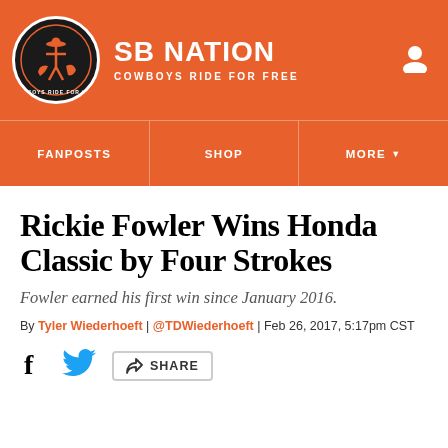SB NATION — COWBOYS RIDE FOR FREE
FANPOSTS | SHOP | MORE
Rickie Fowler Wins Honda Classic by Four Strokes
Fowler earned his first win since January 2016.
By Tyler Wiederhoeft | @TDWiederhoeft | Feb 26, 2017, 5:17pm CST
SHARE